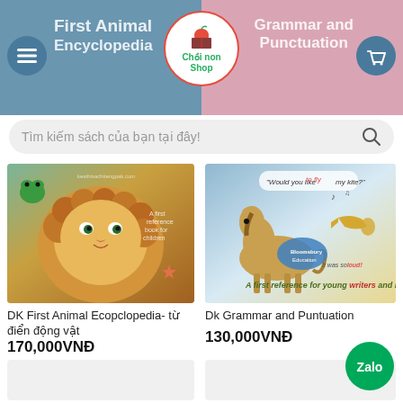[Figure (screenshot): Mobile e-commerce app header banner showing 'First Animal Encyclopedia' on left in blue, 'Grammar and Punctuation' on right in pink, with hamburger menu button (left), shopping basket button (right), and center logo circle with apple icon and text 'Chồi non Shop']
Tìm kiếm sách của bạn tại đây!
[Figure (photo): DK First Animal Encyclopedia book cover showing a lion cub and starfish]
DK First Animal Ecopclopedia- từ điển động vật
170,000VNĐ
[Figure (photo): DK Grammar and Punctuation book cover showing a horse, trumpet, and text 'A first reference for young writers and readers']
Dk Grammar and Puntuation
130,000VNĐ